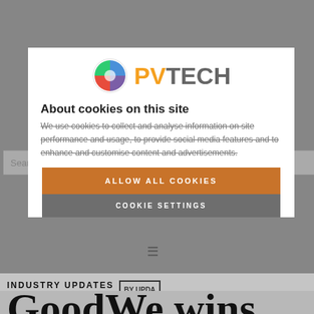[Figure (logo): PVTech website logo with colorful sphere icon and PVTECH text in orange/gray]
About cookies on this site
We use cookies to collect and analyse information on site performance and usage, to provide social media features and to enhance and customise content and advertisements.
ALLOW ALL COOKIES
COOKIE SETTINGS
INDUSTRY UPDATES
GoodWe wins TÜV Rheinland ‘All Quality Matters’ award for sixth year in a row